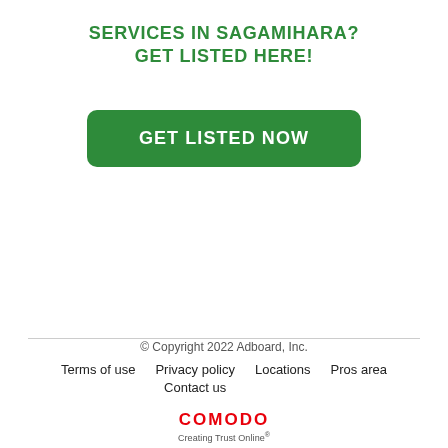SERVICES IN SAGAMIHARA?
GET LISTED HERE!
[Figure (other): Green rounded rectangle button with white bold text reading 'GET LISTED NOW']
© Copyright 2022 Adboard, Inc.
Terms of use   Privacy policy   Locations   Pros area   Contact us
[Figure (logo): Comodo logo with red text 'COMODO' and tagline 'Creating Trust Online']